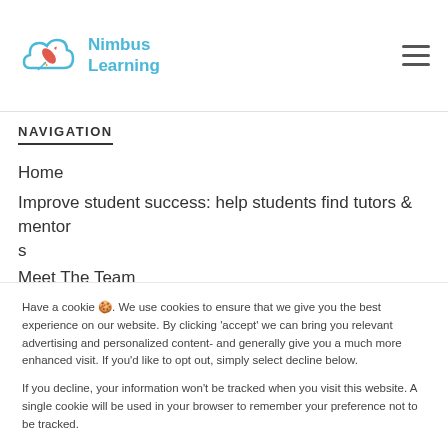[Figure (logo): Nimbus Learning logo with cloud and rocket icon in blue/teal, with text 'Nimbus Learning' in teal]
NAVIGATION
Home
Improve student success: help students find tutors & mentors
Meet The Team
Have a cookie 🍪. We use cookies to ensure that we give you the best experience on our website. By clicking 'accept' we can bring you relevant advertising and personalized content- and generally give you a much more enhanced visit. If you'd like to opt out, simply select decline below.
If you decline, your information won't be tracked when you visit this website. A single cookie will be used in your browser to remember your preference not to be tracked.